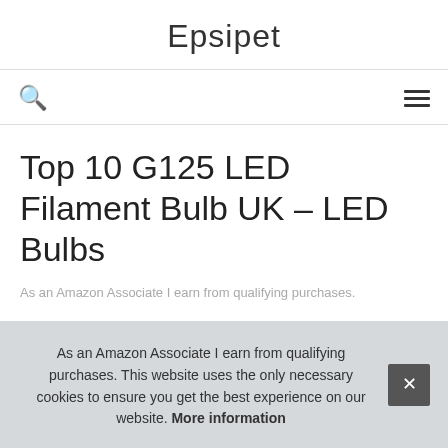Epsipet
🔍  ☰
Top 10 G125 LED Filament Bulb UK – LED Bulbs
As an Amazon Associate I earn from qualifying purchases.
1.
As an Amazon Associate I earn from qualifying purchases. This website uses the only necessary cookies to ensure you get the best experience on our website. More information